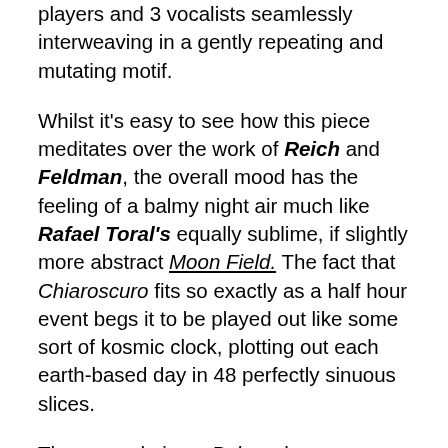players and 3 vocalists seamlessly interweaving in a gently repeating and mutating motif.
Whilst it's easy to see how this piece meditates over the work of Reich and Feldman, the overall mood has the feeling of a balmy night air much like Rafael Toral's equally sublime, if slightly more abstract Moon Field. The fact that Chiaroscuro fits so exactly as a half hour event begs it to be played out like some sort of kosmic clock, plotting out each earth-based day in 48 perfectly sinuous slices.
The second piece, Pulses, has a more blurred filmic quality. Gentle layers slowly overlapping each other, rippling and morphing in a way that the title ques up. Over its near 15-minute life, time and time again, it accumulates into beautifully pulsing sonic peaks.
Considered as an album, these two pieces form an